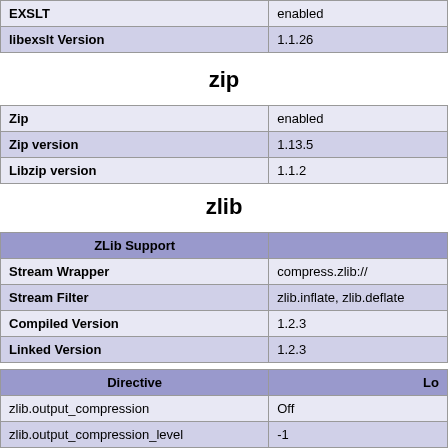| EXSLT | enabled |
| --- | --- |
| libexslt Version | 1.1.26 |
zip
| Zip | enabled |
| --- | --- |
| Zip version | 1.13.5 |
| Libzip version | 1.1.2 |
zlib
| ZLib Support |  |
| --- | --- |
| Stream Wrapper | compress.zlib:// |
| Stream Filter | zlib.inflate, zlib.deflate |
| Compiled Version | 1.2.3 |
| Linked Version | 1.2.3 |
| Directive | Lo |
| --- | --- |
| zlib.output_compression | Off |
| zlib.output_compression_level | -1 |
| zlib.output_handler | no value |